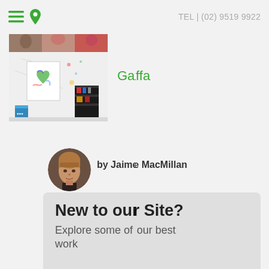TEL | (02) 9519 9922
[Figure (photo): Partially visible image strip showing people at top]
[Figure (photo): Art studio interior with white walls, colorful painting on easel, dark shelving unit with supplies]
Gaffa
[Figure (photo): Circular profile photo of Jaime MacMillan, a woman with blonde bangs and dark top]
by Jaime MacMillan
Twitter   Google+
New to our Site?
Explore some of our best work